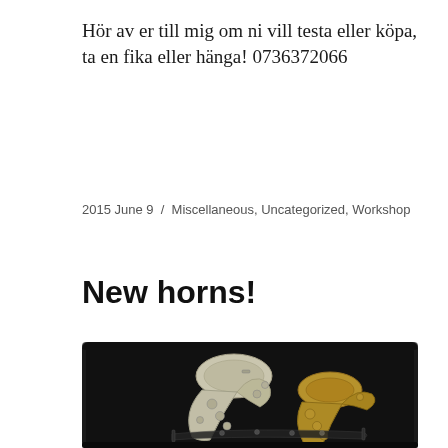Hör av er till mig om ni vill testa eller köpa, ta en fika eller hänga! 0736372066
2015 June 9 / Miscellaneous, Uncategorized, Workshop
New horns!
[Figure (photo): Two saxophones (one silver, one brass/gold) in a black hard case, photographed from above.]